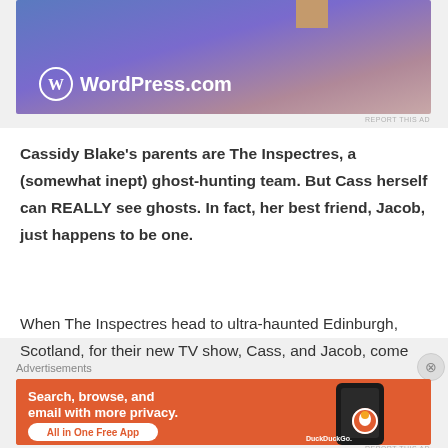[Figure (screenshot): WordPress.com advertisement banner with blue-purple gradient background and WordPress logo]
REPORT THIS AD
Cassidy Blake's parents are The Inspectres, a (somewhat inept) ghost-hunting team. But Cass herself can REALLY see ghosts. In fact, her best friend, Jacob, just happens to be one.
When The Inspectres head to ultra-haunted Edinburgh, Scotland, for their new TV show, Cass, and Jacob, come
Advertisements
[Figure (screenshot): DuckDuckGo advertisement: Search, browse, and email with more privacy. All in One Free App. Shows DuckDuckGo logo on a phone.]